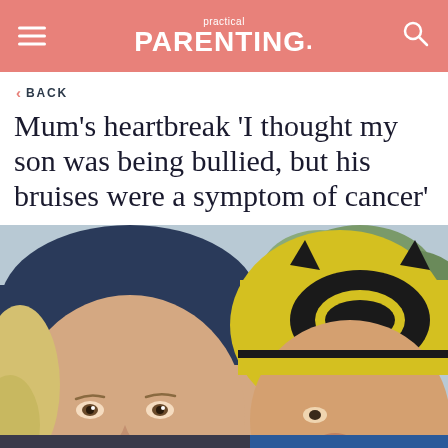practical PARENTING.
< BACK
Mum's heartbreak 'I thought my son was being bullied, but his bruises were a symptom of cancer'
[Figure (photo): Selfie photo of a woman with blonde hair wearing a dark blue beanie hat, and a young child wearing a yellow and black Batman-themed beanie hat, outdoors with trees visible in the background.]